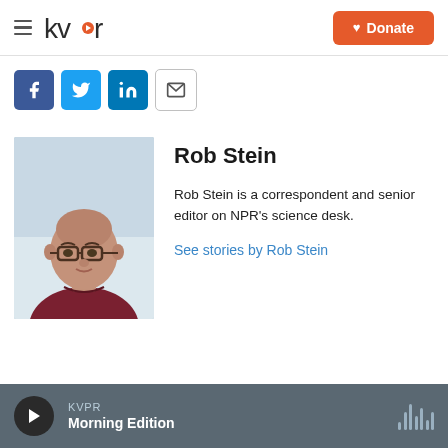KVPR — Donate
[Figure (other): Social share buttons: Facebook, Twitter, LinkedIn, Email]
[Figure (photo): Headshot of Rob Stein, a bald man with glasses wearing a dark red sweater, photographed against a light blue/white background]
Rob Stein
Rob Stein is a correspondent and senior editor on NPR's science desk.
See stories by Rob Stein
KVPR Morning Edition